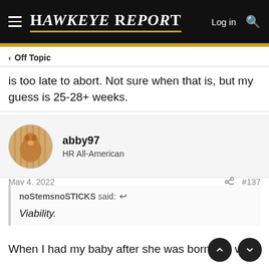Hawkeye Report — Log in
< Off Topic
is too late to abort. Not sure when that is, but my guess is 25-28+ weeks.
abby97
HR All-American
May 4, 2022  #137
noStemsnoSTICKS said: ↩

Viability.
When I had my baby after she was born she was